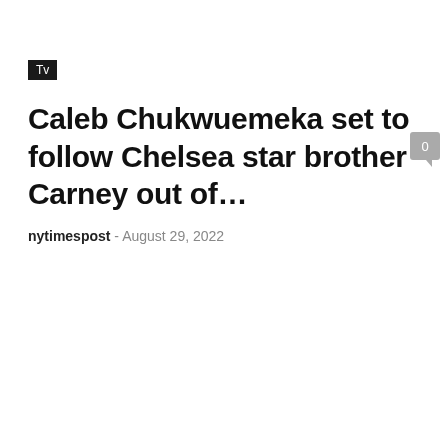Tv
Caleb Chukwuemeka set to follow Chelsea star brother Carney out of…
nytimespost  -  August 29, 2022